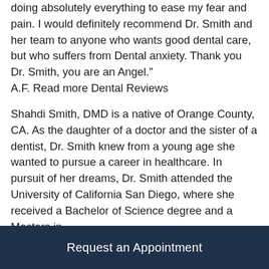doing absolutely everything to ease my fear and pain. I would definitely recommend Dr. Smith and her team to anyone who wants good dental care, but who suffers from Dental anxiety. Thank you Dr. Smith, you are an Angel." A.F. Read more Dental Reviews
Shahdi Smith, DMD is a native of Orange County, CA. As the daughter of a doctor and the sister of a dentist, Dr. Smith knew from a young age she wanted to pursue a career in healthcare. In pursuit of her dreams, Dr. Smith attended the University of California San Diego, where she received a Bachelor of Science degree and a Masters in
Request an Appointment